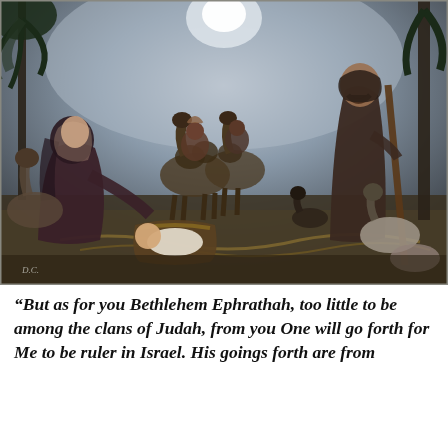[Figure (illustration): Black and white illustration of the Nativity scene: Mary kneeling on the left beside the baby Jesus in a manger, Joseph standing on the right holding a staff, three wise men on camels approaching in the background under a night sky with a bright star. Various animals including a donkey and sheep are present. Artist signature visible in lower left corner.]
“But as for you Bethlehem Ephrathah, too little to be among the clans of Judah, from you One will go forth for Me to be ruler in Israel. His goings forth are from